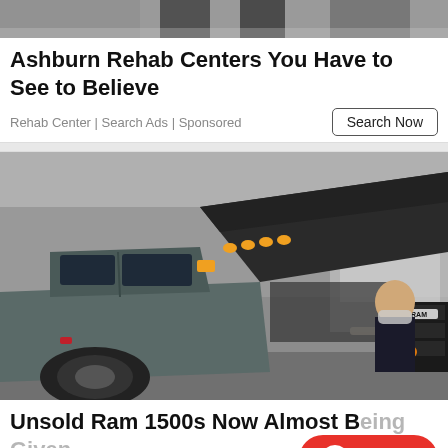[Figure (photo): Top portion of an advertisement image, partially cropped, showing dark silhouette of figures]
Ashburn Rehab Centers You Have to See to Believe
Rehab Center | Search Ads | Sponsored
[Figure (photo): A gray RAM 1500 pickup truck with hood open, displayed at what appears to be an auto show, with a person wearing a mask visible in the background]
Unsold Ram 1500s Now Almost Being Given Away (See Prices)